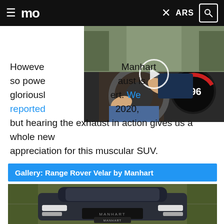≡ mo  ✕ ARS 🔍
[Figure (screenshot): Video thumbnail of a car interior dashboard view showing speedometer reading 296, driver's hands on steering wheel, with a play button overlay]
However, Manhart so powerful, the exhaust is gloriously loud. We reported in 2020, but hearing the exhaust in action gives us a whole new appreciation for this muscular SUV.
Gallery: Range Rover Velar by Manhart
[Figure (photo): Front view of a dark grey Range Rover Velar by Manhart, parked in front of green foliage with a fence visible in the background]